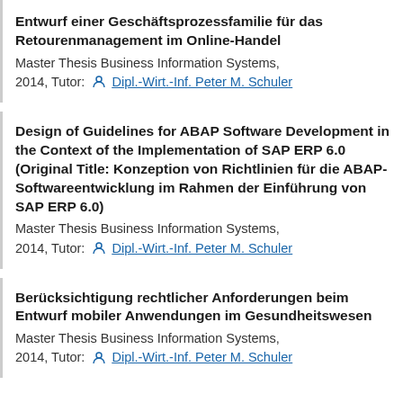Entwurf einer Geschäftsprozessfamilie für das Retourenmanagement im Online-Handel
Master Thesis Business Information Systems, 2014, Tutor: Dipl.-Wirt.-Inf. Peter M. Schuler
Design of Guidelines for ABAP Software Development in the Context of the Implementation of SAP ERP 6.0 (Original Title: Konzeption von Richtlinien für die ABAP-Softwareentwicklung im Rahmen der Einführung von SAP ERP 6.0)
Master Thesis Business Information Systems, 2014, Tutor: Dipl.-Wirt.-Inf. Peter M. Schuler
Berücksichtigung rechtlicher Anforderungen beim Entwurf mobiler Anwendungen im Gesundheitswesen
Master Thesis Business Information Systems, 2014, Tutor: Dipl.-Wirt.-Inf. Peter M. Schuler